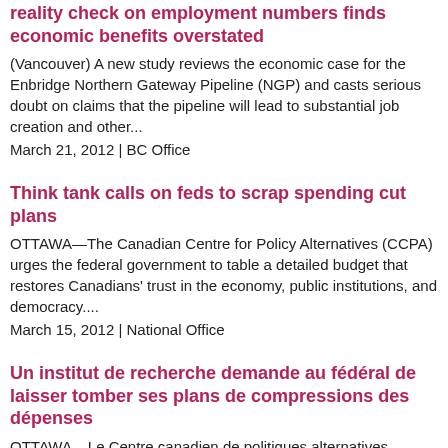reality check on employment numbers finds economic benefits overstated
(Vancouver) A new study reviews the economic case for the Enbridge Northern Gateway Pipeline (NGP) and casts serious doubt on claims that the pipeline will lead to substantial job creation and other...
March 21, 2012 | BC Office
Think tank calls on feds to scrap spending cut plans
OTTAWA—The Canadian Centre for Policy Alternatives (CCPA) urges the federal government to table a detailed budget that restores Canadians' trust in the economy, public institutions, and democracy....
March 15, 2012 | National Office
Un institut de recherche demande au fédéral de laisser tomber ses plans de compressions des dépenses
OTTAWA – Le Centre canadien de politiques alternatives exhorte le gouvernement fédéral à déposer un budget qui redonne aux Canadiens confiance dans l'économie, les